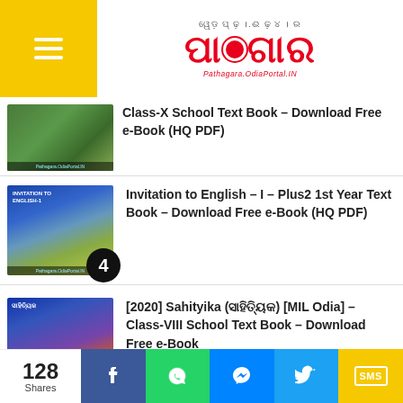Pathagara.OdiaPortal.IN
Class-X School Text Book – Download Free e-Book (HQ PDF)
Invitation to English - I - Plus2 1st Year Text Book – Download Free e-Book (HQ PDF)
[2020] Sahityika (ସାହିତ୍ୟିକ) [MIL Odia] – Class-VIII School Text Book – Download Free e-Book
Mathematics (ଗଣିତ) – Class-VII School
128 Shares